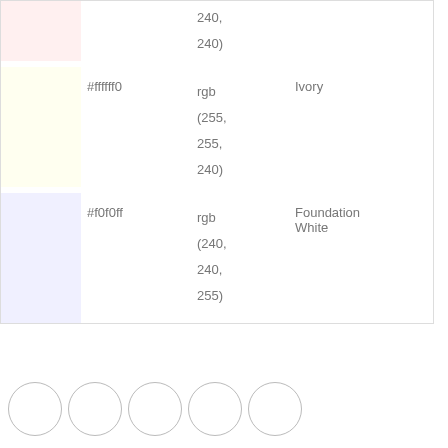| Color Swatch | Hex | RGB | Name |
| --- | --- | --- | --- |
| (pink swatch) |  | 240, 240) |  |
| (ivory swatch) | #ffff f0 | rgb (255, 255, 240) | Ivory |
| (foundation white swatch) | #f0f0ff | rgb (240, 240, 255) | Foundation White |
[Figure (illustration): Five empty white circles arranged horizontally at the bottom of the page]